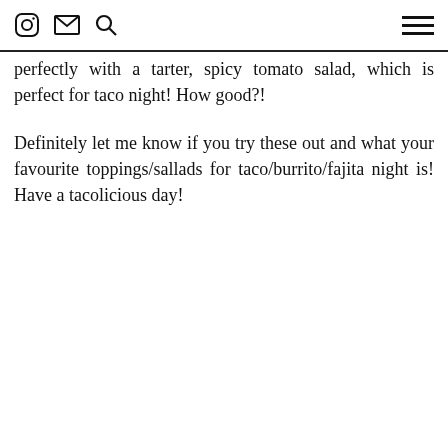[Instagram icon] [Mail icon] [Search icon] [Menu icon]
perfectly with a tarter, spicy tomato salad, which is perfect for taco night! How good?!
Definitely let me know if you try these out and what your favourite toppings/sallads for taco/burrito/fajita night is! Have a tacolicious day!